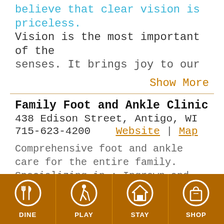believe that clear vision is priceless. Vision is the most important of the senses. It brings joy to our lives and
Show More
Family Foot and Ankle Clinic
438 Edison Street, Antigo, WI
715-623-4200    Website | Map
Comprehensive foot and ankle care for the entire family. Specializing in : Ingrown and fungal nails, ankle injuries and trauma. Diabetic foot care, bunions and hammer toes, skin
[Figure (infographic): Footer navigation bar with four orange icon buttons: DINE (fork and knife icon), PLAY (hiker icon), STAY (house icon), SHOP (shopping bag icon)]